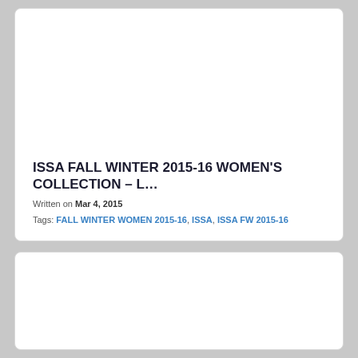ISSA FALL WINTER 2015-16 WOMEN'S COLLECTION – L…
Written on Mar 4, 2015
Tags: FALL WINTER WOMEN 2015-16, ISSA, ISSA FW 2015-16